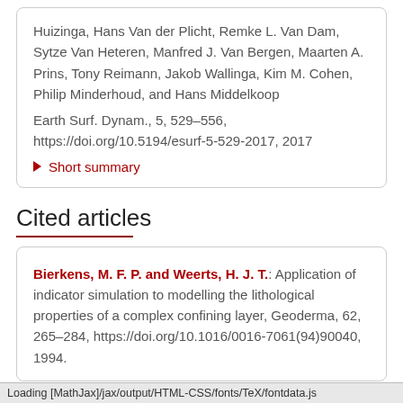Huizinga, Hans Van der Plicht, Remke L. Van Dam, Sytze Van Heteren, Manfred J. Van Bergen, Maarten A. Prins, Tony Reimann, Jakob Wallinga, Kim M. Cohen, Philip Minderhoud, and Hans Middelkoop
Earth Surf. Dynam., 5, 529–556, https://doi.org/10.5194/esurf-5-529-2017, 2017
▶ Short summary
Cited articles
Bierkens, M. F. P. and Weerts, H. J. T.: Application of indicator simulation to modelling the lithological properties of a complex confining layer, Geoderma, 62, 265–284, https://doi.org/10.1016/0016-7061(94)90040, 1994.
Loading [MathJax]/jax/output/HTML-CSS/fonts/TeX/fontdata.js